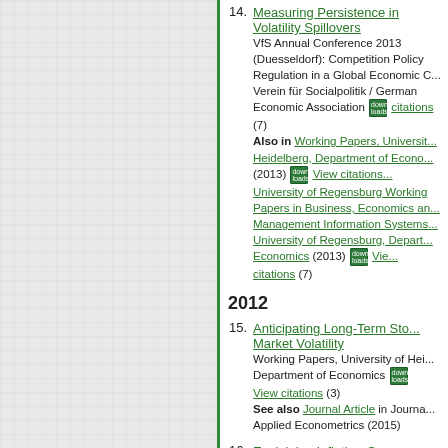14. Measuring Persistence in Volatility Spillovers — VfS Annual Conference 2013 (Duesseldorf): Competition Policy Regulation in a Global Economic Context, Verein für Socialpolitik / German Economic Association downloads citations (7) Also in Working Papers, University of Heidelberg, Department of Economics (2013) downloads View citations University of Regensburg Working Papers in Business, Economics and Management Information Systems, University of Regensburg, Department of Economics (2013) downloads View citations (7)
2012
15. Anticipating Long-Term Stock Market Volatility — Working Papers, University of Heidelberg, Department of Economics downloads View citations (3) See also Journal Article in Journal of Applied Econometrics (2015)
16. Explaining Inflation-Gap Persistence by a Time-Varying Taylor Rule